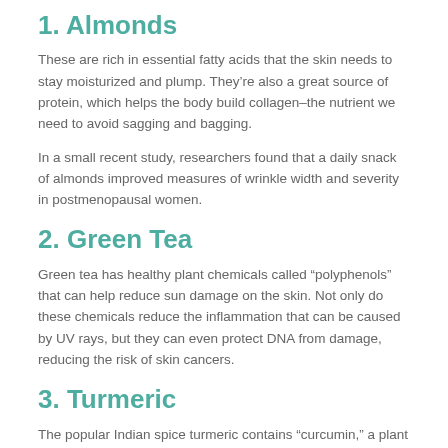1. Almonds
These are rich in essential fatty acids that the skin needs to stay moisturized and plump. They’re also a great source of protein, which helps the body build collagen–the nutrient we need to avoid sagging and bagging.
In a small recent study, researchers found that a daily snack of almonds improved measures of wrinkle width and severity in postmenopausal women.
2. Green Tea
Green tea has healthy plant chemicals called “polyphenols” that can help reduce sun damage on the skin. Not only do these chemicals reduce the inflammation that can be caused by UV rays, but they can even protect DNA from damage, reducing the risk of skin cancers.
3. Turmeric
The popular Indian spice turmeric contains “curcumin,” a plant